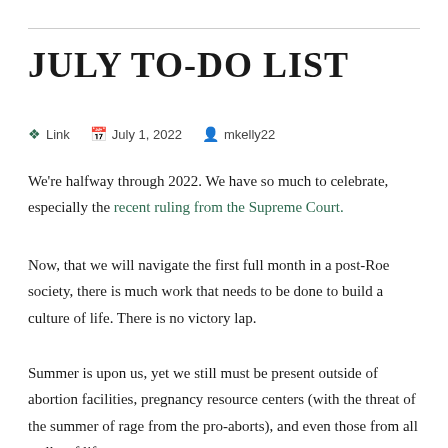JULY TO-DO LIST
Link   July 1, 2022   mkelly22
We’re halfway through 2022. We have so much to celebrate, especially the recent ruling from the Supreme Court.
Now, that we will navigate the first full month in a post-Roe society, there is much work that needs to be done to build a culture of life. There is no victory lap.
Summer is upon us, yet we still must be present outside of abortion facilities, pregnancy resource centers (with the threat of the summer of rage from the pro-aborts), and even those from all walks of life